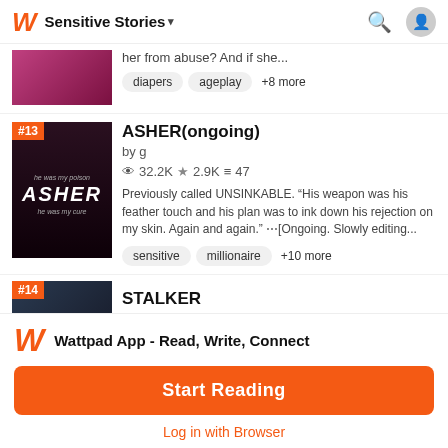Sensitive Stories
her from abuse? And if she...
diapers  ageplay  +8 more
#13 ASHER(ongoing)
by g
32.2K  2.9K  47
Previously called UNSINKABLE. "His weapon was his feather touch and his plan was to ink down his rejection on my skin. Again and again." ···[Ongoing. Slowly editing...
sensitive  millionaire  +10 more
#14 STALKER
[Figure (screenshot): Wattpad app download overlay with logo, 'Wattpad App - Read, Write, Connect' text, orange 'Start Reading' button, and 'Log in with Browser' link]
Wattpad App - Read, Write, Connect
Start Reading
Log in with Browser